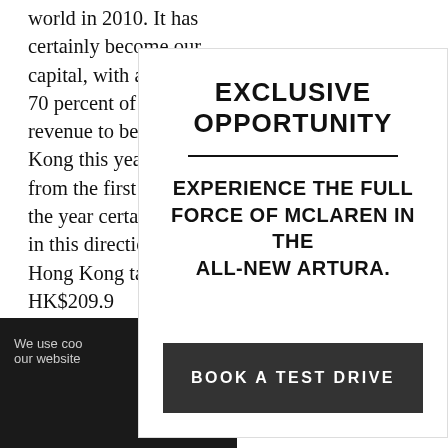world in 2010. It has certainly become our capital, with an estimated 70 percent of our auction revenue to be in Hong Kong this year." Figures from the first quarter of the year certainly point in this direction, with Hong Kong taking the HK$209.9 than the t througho New York Furtherm January to
EXCLUSIVE OPPORTUNITY
EXPERIENCE THE FULL FORCE OF McLAREN IN THE ALL-NEW ARTURA.
BOOK A TEST DRIVE
We use coo our website